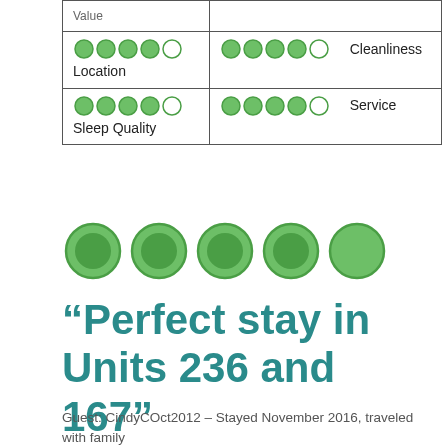| Category (left) | Category (right) |
| --- | --- |
| Value (bubbles) |  |
| (bubbles) Location | (bubbles) Cleanliness |
| (bubbles) Sleep Quality | (bubbles) Service |
[Figure (other): 5 large filled green circle bubbles representing overall rating]
“Perfect stay in Units 236 and 167”
Guest: CindyCOct2012 – Stayed November 2016, traveled with family